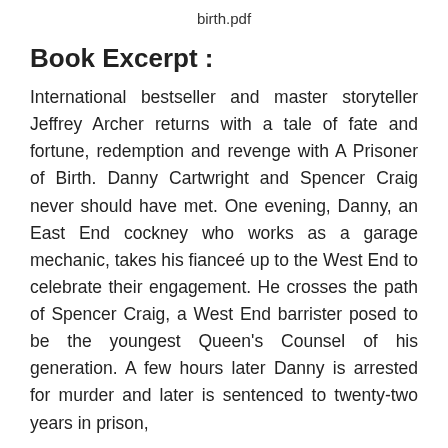birth.pdf
Book Excerpt :
International bestseller and master storyteller Jeffrey Archer returns with a tale of fate and fortune, redemption and revenge with A Prisoner of Birth. Danny Cartwright and Spencer Craig never should have met. One evening, Danny, an East End cockney who works as a garage mechanic, takes his fianceé up to the West End to celebrate their engagement. He crosses the path of Spencer Craig, a West End barrister posed to be the youngest Queen's Counsel of his generation. A few hours later Danny is arrested for murder and later is sentenced to twenty-two years in prison,